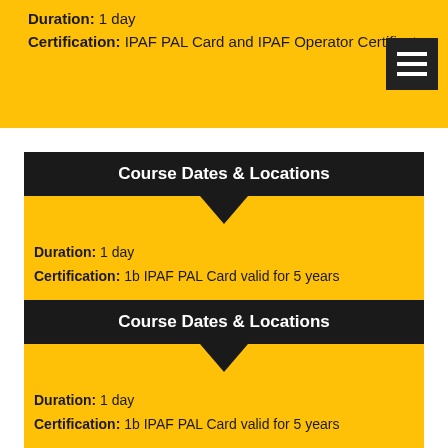Duration: 1 day
Certification: IPAF PAL Card and IPAF Operator Certificate
Course Dates & Locations
Duration: 1 day
Certification: 1b IPAF PAL Card valid for 5 years
Course Dates & Locations
Duration: 1 day
Certification: 1b IPAF PAL Card valid for 5 years